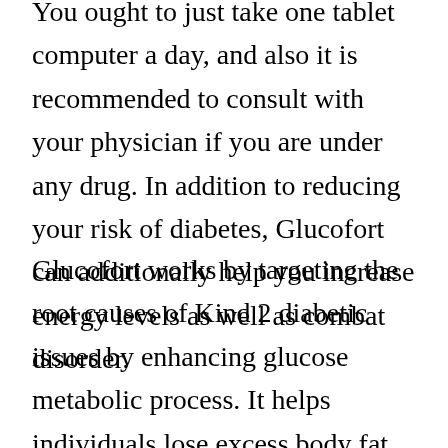You ought to just take one tablet computer a day, and also it is recommended to consult with your physician if you are under any drug. In addition to reducing your risk of diabetes, Glucofort can additionally help you increase energy levels as well as combat disorder.
Glucofort works by targeting the root causes of Kind 2 diabetic issues by enhancing glucose metabolic process. It helps individuals lose excess body fat around their important organs as well as advertises a healthy and balanced neighborhood.